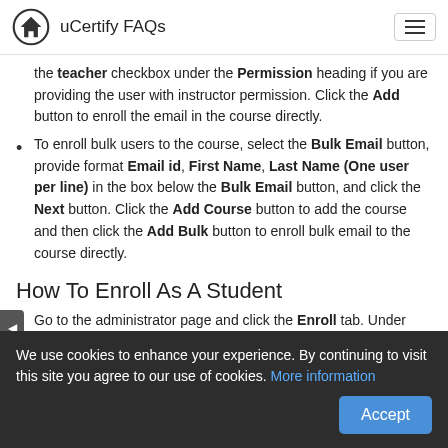uCertify FAQs
the teacher checkbox under the Permission heading if you are providing the user with instructor permission. Click the Add button to enroll the email in the course directly.
To enroll bulk users to the course, select the Bulk Email button, provide format Email id, First Name, Last Name (One user per line) in the box below the Bulk Email button, and click the Next button. Click the Add Course button to add the course and then click the Add Bulk button to enroll bulk email to the course directly.
How To Enroll As A Student
Go to the administrator page and click the Enroll tab. Under
We use cookies to enhance your experience. By continuing to visit this site you agree to our use of cookies. More information